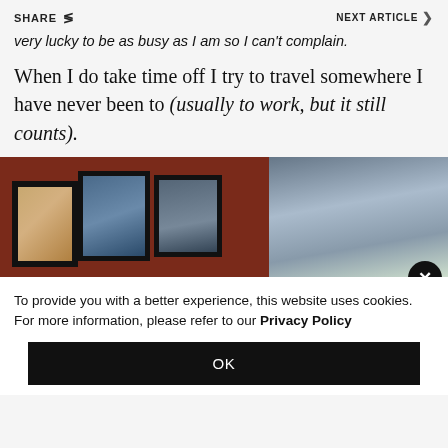SHARE   NEXT ARTICLE >
very lucky to be as busy as I am so I can't complain.
When I do take time off I try to travel somewhere I have never been to (usually to work, but it still counts).
[Figure (photo): Framed artwork photographs hanging on a dark red wall]
To provide you with a better experience, this website uses cookies. For more information, please refer to our Privacy Policy
OK